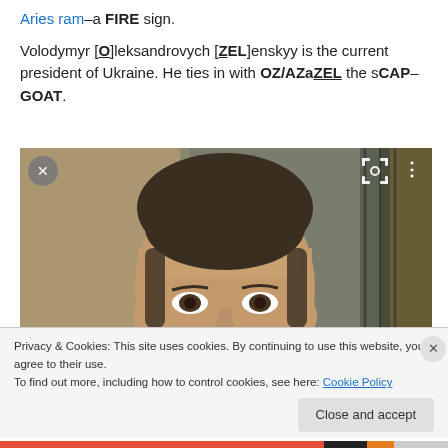Aries ram–a FIRE sign.
Volodymyr [O]leksandrovych [Z]ELenskyy is the current president of Ukraine. He ties in with OZ/AZaZEL the sCAP–GOAT.
[Figure (photo): Portrait photo of Volodymyr Zelenskyy, cropped to show face and upper shoulders, with curtains in background. Overlaid with X close button, focus icon, and vertical dots menu icon.]
Privacy & Cookies: This site uses cookies. By continuing to use this website, you agree to their use.
To find out more, including how to control cookies, see here: Cookie Policy
Close and accept